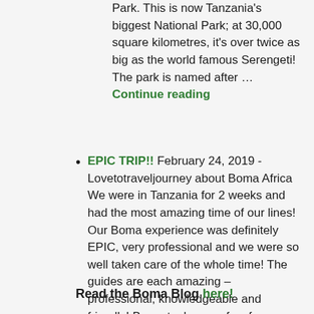Park. This is now Tanzania's biggest National Park; at 30,000 square kilometres, it's over twice as big as the world famous Serengeti! The park is named after … Continue reading
EPIC TRIP!! February 24, 2019 - Lovetotraveljourney about Boma Africa We were in Tanzania for 2 weeks and had the most amazing time of our lines! Our Boma experience was definitely EPIC, very professional and we were so well taken care of the whole time! The guides are each amazing – professional, knowledgeable and friendly! Boma took care of us from … Continue reading
Read the Boma Blog here!